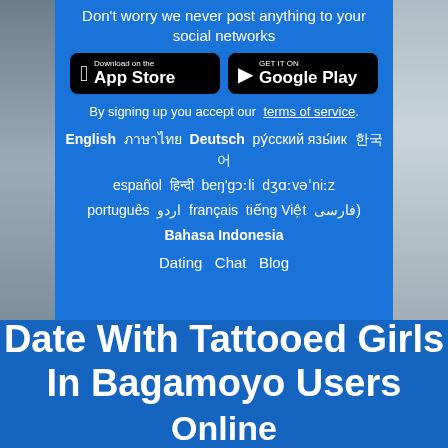Don't worry we never post anything to your social networks
[Figure (other): App Store and Google Play download buttons]
By signing up you accept our terms of service.
English  ภาษาไทย  Deutsch  ру́сский язы́ик  한국어  español  हिन्दी  beŋ'gɔːli  dʒɑːvəˈniːz  português  اردو  français  tiếng Việt  فارسی)  Bahasa Indonesia
Dating  Chat  Blog
Date With Tattooed Girls In Bagamoyo Users Online